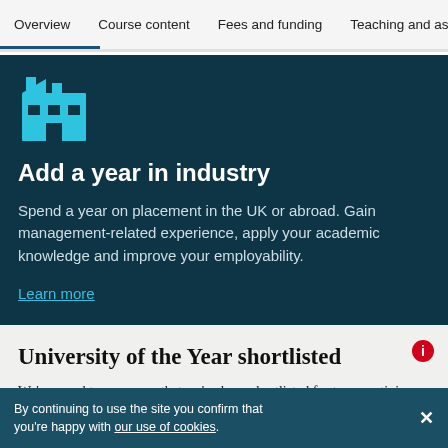Overview | Course content | Fees and funding | Teaching and assessment
Add a year in industry
Spend a year on placement in the UK or abroad. Gain management-related experience, apply your academic knowledge and improve your employability.
Learn more
University of the Year shortlisted
We're proud to announce that we've been shortlisted for two prestigious University of the Year awards.
By continuing to use the site you confirm that you're happy with our use of cookies.